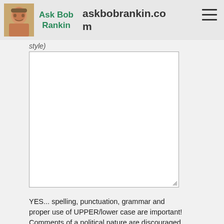askbobrankin.com
style)
[Figure (screenshot): A textarea input box with a resize handle at the bottom right corner]
YES... spelling, punctuation, grammar and proper use of UPPER/lower case are important! Comments of a political nature are discouraged. Please limit your remarks to 3-4 paragraphs. If you want to see your comment posted, pay attention to these items...